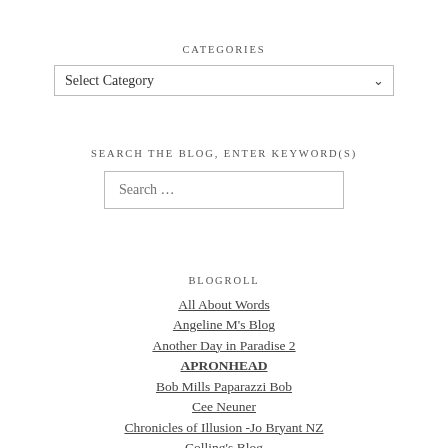CATEGORIES
Select Category
SEARCH THE BLOG, ENTER KEYWORD(S)
Search ...
BLOGROLL
All About Words
Angeline M's Blog
Another Day in Paradise 2
APRONHEAD
Bob Mills Paparazzi Bob
Cee Neuner
Chronicles of Illusion -Jo Bryant NZ
Colling's Blog